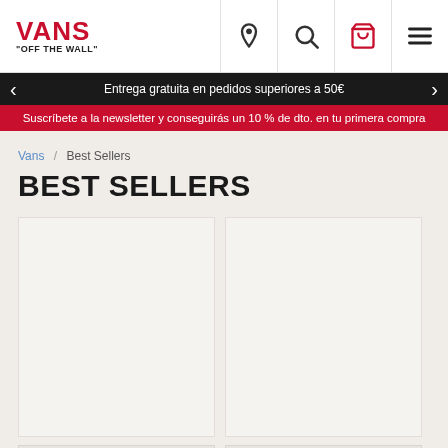VANS "OFF THE WALL"
Entrega gratuita en pedidos superiores a 50€
Suscríbete a la newsletter y conseguirás un 10 % de dto. en tu primera compra
Vans / Best Sellers
BEST SELLERS
[Figure (photo): Product card placeholder left]
[Figure (photo): Product card placeholder right]